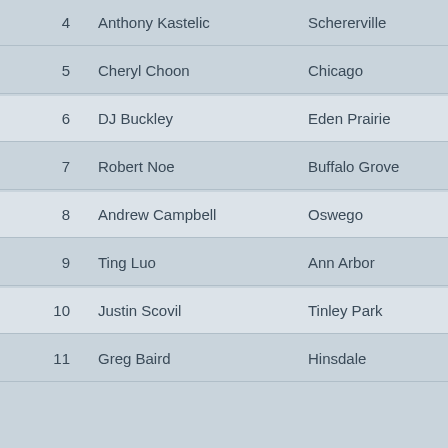| # | Name | City | State |
| --- | --- | --- | --- |
| 4 | Anthony Kastelic | Schererville | IN |
| 5 | Cheryl Choon | Chicago | IL |
| 6 | DJ Buckley | Eden Prairie | MN |
| 7 | Robert Noe | Buffalo Grove | IL |
| 8 | Andrew Campbell | Oswego | IL |
| 9 | Ting Luo | Ann Arbor | MI |
| 10 | Justin Scovil | Tinley Park | IL |
| 11 | Greg Baird | Hinsdale | IL |